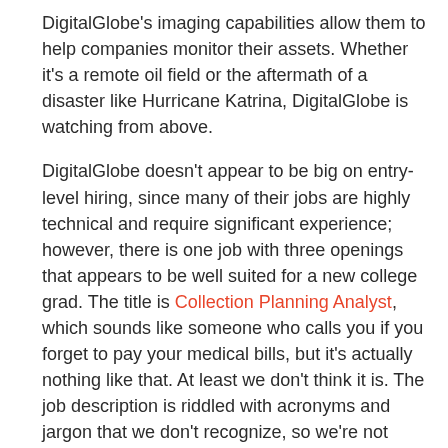DigitalGlobe's imaging capabilities allow them to help companies monitor their assets. Whether it's a remote oil field or the aftermath of a disaster like Hurricane Katrina, DigitalGlobe is watching from above.
DigitalGlobe doesn't appear to be big on entry-level hiring, since many of their jobs are highly technical and require significant experience; however, there is one job with three openings that appears to be well suited for a new college grad. The title is Collection Planning Analyst, which sounds like someone who calls you if you forget to pay your medical bills, but it's actually nothing like that. At least we don't think it is. The job description is riddled with acronyms and jargon that we don't recognize, so we're not exactly sure what this job entails. We do know that you'll need a background in satellite planning systems and must hold or have the ability to obtain U.S. Government clearance. We'd imagine that people with a military or engineering background would be the best fits.